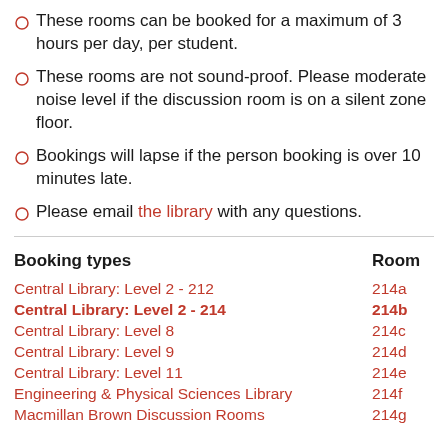These rooms can be booked for a maximum of 3 hours per day, per student.
These rooms are not sound-proof. Please moderate noise level if the discussion room is on a silent zone floor.
Bookings will lapse if the person booking is over 10 minutes late.
Please email the library with any questions.
| Booking types | Room |
| --- | --- |
| Central Library: Level 2 - 212 | 214a |
| Central Library: Level 2 - 214 | 214b |
| Central Library: Level 8 | 214c |
| Central Library: Level 9 | 214d |
| Central Library: Level 11 | 214e |
| Engineering & Physical Sciences Library | 214f |
| Macmillan Brown Discussion Rooms | 214g |